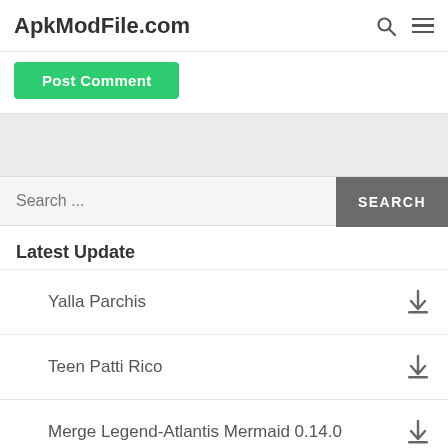ApkModFile.com
[Figure (screenshot): Post Comment green button (partially visible, cropped at top)]
[Figure (other): Gray advertisement or banner band]
Search ...
Latest Update
Yalla Parchis
Teen Patti Rico
Merge Legend-Atlantis Mermaid 0.14.0